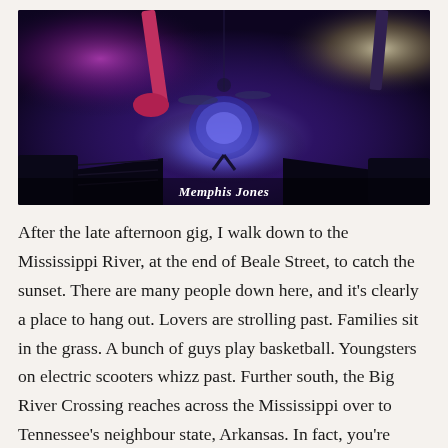[Figure (photo): A concert stage photo showing musicians performing under purple and blue stage lights. Drum kit visible in center with blue glow. Pink/magenta light on left side, warm light on right. Stage monitors/speakers visible in foreground. Caption reads 'Memphis Jones'.]
Memphis Jones
After the late afternoon gig, I walk down to the Mississippi River, at the end of Beale Street, to catch the sunset. There are many people down here, and it's clearly a place to hang out. Lovers are strolling past. Families sit in the grass. A bunch of guys play basketball. Youngsters on electric scooters whizz past. Further south, the Big River Crossing reaches across the Mississippi over to Tennessee's neighbour state, Arkansas. In fact, you're already in Arkansas halfway across the river when crossing the bridge.